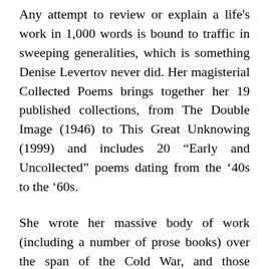Any attempt to review or explain a life's work in 1,000 words is bound to traffic in sweeping generalities, which is something Denise Levertov never did. Her magisterial Collected Poems brings together her 19 published collections, from The Double Image (1946) to This Great Unknowing (1999) and includes 20 “Early and Uncollected” poems dating from the ‘40s to the ‘60s.
She wrote her massive body of work (including a number of prose books) over the span of the Cold War, and those external tensions certainly present themselves here, but she appears to have been more concerned with more immediate and local atmospheric disturbances: our relationships with our natural and unnatural surroundings and the ways the changing weather, literally